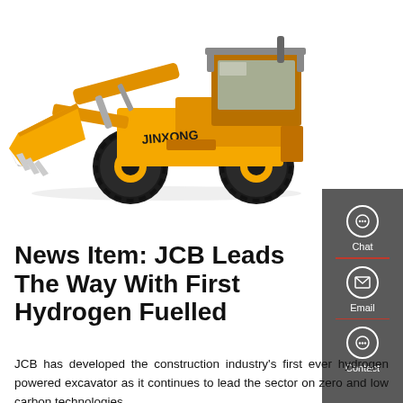[Figure (photo): Yellow JIN&ONG front loader / wheel loader construction machine on white background]
News Item: JCB Leads The Way With First Hydrogen Fuelled
JCB has developed the construction industry's first ever hydrogen powered excavator as it continues to lead the sector on zero and low carbon technologies,